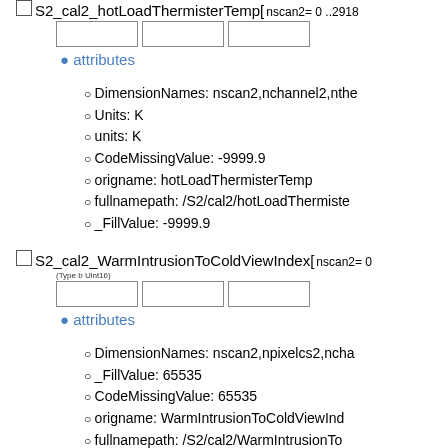S2_cal2_hotLoadThermisterTemp[ nscan2= 0 ..2918
attributes
DimensionNames: nscan2,nchannel2,nthe
Units: K
units: K
CodeMissingValue: -9999.9
origname: hotLoadThermisterTemp
fullnamepath: /S2/cal2/hotLoadThermiste
_FillValue: -9999.9
S2_cal2_WarmIntrusionToColdViewIndex[ nscan2= 0
(Type b Uint16)
attributes
DimensionNames: nscan2,npixelcs2,ncha
_FillValue: 65535
CodeMissingValue: 65535
origname: WarmIntrusionToColdViewInd
fullnamepath: /S2/cal2/WarmIntrusionTo
S2_scanStatus_TRMMyawUpdateS[ nscan2= 0 ..291